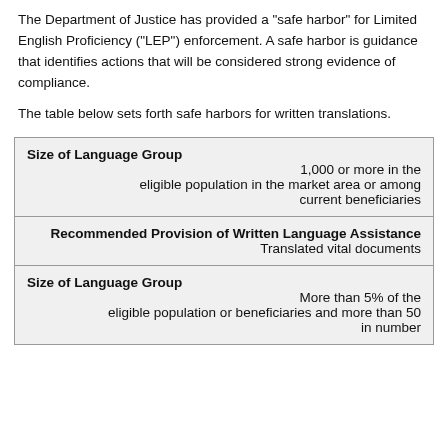The Department of Justice has provided a "safe harbor" for Limited English Proficiency ("LEP") enforcement. A safe harbor is guidance that identifies actions that will be considered strong evidence of compliance.
The table below sets forth safe harbors for written translations.
| Size of Language Group | Value |
| --- | --- |
| Size of Language Group | 1,000 or more in the eligible population in the market area or among current beneficiaries |
| Recommended Provision of Written Language Assistance | Translated vital documents |
| Size of Language Group | More than 5% of the eligible population or beneficiaries and more than 50 in number |